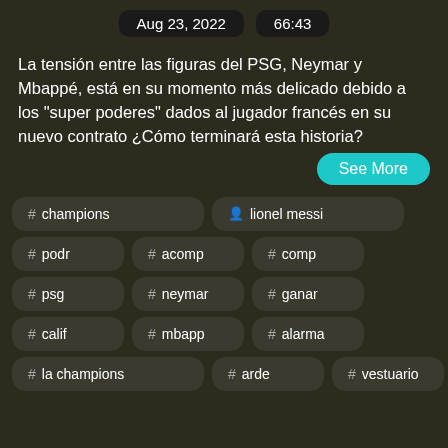Aug 23, 2022   66:43
La tensión entre las figuras del PSG, Neymar y Mbappé, está en su momento más delicado debido a los "super poderes" dados al jugador francés en su nuevo contrato ¿Cómo terminará esta historia?
See More
# champions
👤 lionel messi
# podr
# acomp
# comp
# psg
# neymar
# ganar
# calif
# mbapp
# alarma
# la champions
# arde
# vestuario